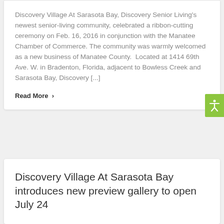Discovery Village At Sarasota Bay, Discovery Senior Living's newest senior-living community, celebrated a ribbon-cutting ceremony on Feb. 16, 2016 in conjunction with the Manatee Chamber of Commerce. The community was warmly welcomed as a new business of Manatee County.  Located at 1414 69th Ave. W. in Bradenton, Florida, adjacent to Bowless Creek and Sarasota Bay, Discovery [...]
Read More >
Discovery Village At Sarasota Bay introduces new preview gallery to open July 24